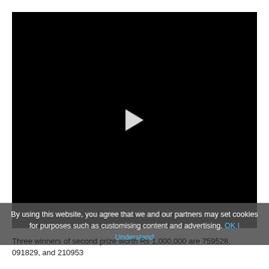[Figure (screenshot): Black video player area with a white play button triangle in the center]
By using this website, you agree that we and our partners may set cookies for purposes such as customising content and advertising. OK I Understand
Three winners of second prize worth Rs 1,000,000 are 759528, 091829, and 210953